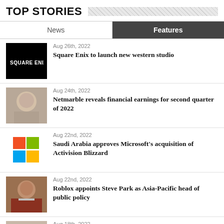TOP STORIES
News | Features
Aug 26th, 2022 — Square Enix to launch new western studio
Aug 24th, 2022 — Netmarble reveals financial earnings for second quarter of 2022
Aug 22nd, 2022 — Saudi Arabia approves Microsoft's acquisition of Activision Blizzard
Aug 22nd, 2022 — Roblox appoints Steve Park as Asia-Pacific head of public policy
Aug 18th, 2022 — Garena sees sharp decreases in year-on-year bookings and revenue
See more News »